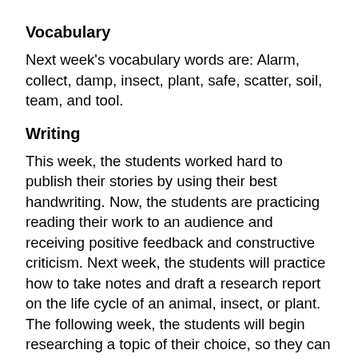Vocabulary
Next week's vocabulary words are: Alarm, collect, damp, insect, plant, safe, scatter, soil, team, and tool.
Writing
This week, the students worked hard to publish their stories by using their best handwriting. Now, the students are practicing reading their work to an audience and receiving positive feedback and constructive criticism. Next week, the students will practice how to take notes and draft a research report on the life cycle of an animal, insect, or plant. The following week, the students will begin researching a topic of their choice, so they can start thinking of what they'd like to research at